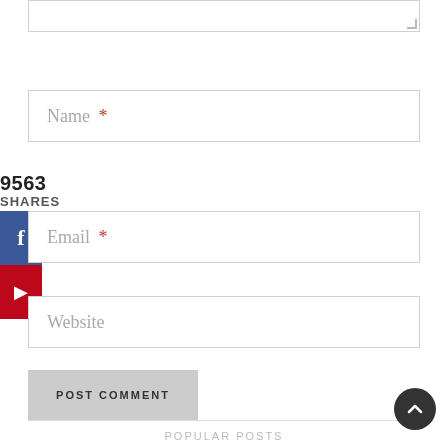[Figure (screenshot): Textarea input box (comment field) at top of page, partially visible with resize handle]
Name *
9563
SHARES
[Figure (screenshot): Facebook share button — blue square with white 'f' icon]
[Figure (screenshot): Pinterest save button — red square with white 'P' icon]
Email *
Website
POST COMMENT
[Figure (screenshot): Scroll-to-top circular dark button with upward chevron arrow]
POPULAR POSTS